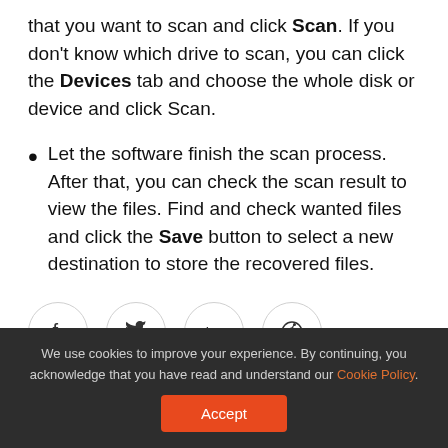that you want to scan and click Scan. If you don't know which drive to scan, you can click the Devices tab and choose the whole disk or device and click Scan.
Let the software finish the scan process. After that, you can check the scan result to view the files. Find and check wanted files and click the Save button to select a new destination to store the recovered files.
[Figure (other): Social media share icons: Facebook, Twitter, LinkedIn, Reddit — each in a circular outlined button]
We use cookies to improve your experience. By continuing, you acknowledge that you have read and understand our Cookie Policy. Accept